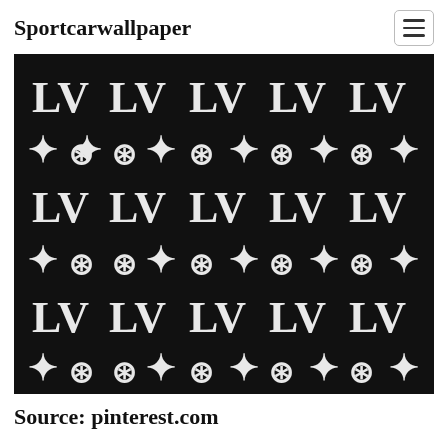Sportcarwallpaper
[Figure (illustration): Louis Vuitton monogram pattern — repeating LV logo and floral/diamond motifs in white on black background]
Source: pinterest.com